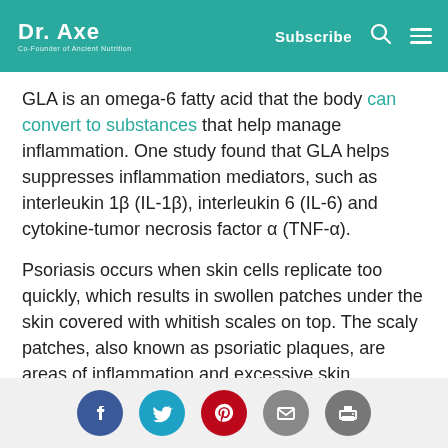Dr. Axe — Co-Founder of Ancient Nutrition | Subscribe
GLA is an omega-6 fatty acid that the body can convert to substances that help manage inflammation. One study found that GLA helps suppresses inflammation mediators, such as interleukin 1β (IL-1β), interleukin 6 (IL-6) and cytokine-tumor necrosis factor α (TNF-α).
Psoriasis occurs when skin cells replicate too quickly, which results in swollen patches under the skin covered with whitish scales on top. The scaly patches, also known as psoriatic plaques, are areas of inflammation and excessive skin production.
[Figure (infographic): Social sharing icons: Facebook (blue), Twitter (teal), Pinterest (red), Email (gray), Print (gray)]